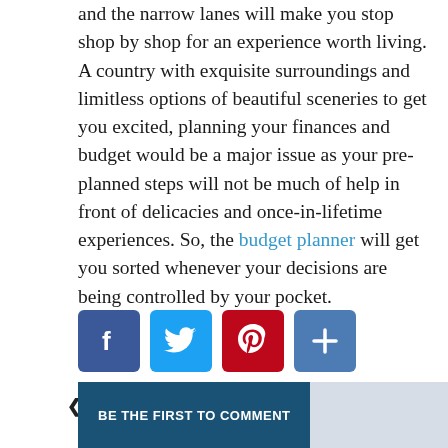and the narrow lanes will make you stop shop by shop for an experience worth living. A country with exquisite surroundings and limitless options of beautiful sceneries to get you excited, planning your finances and budget would be a major issue as your pre-planned steps will not be much of help in front of delicacies and once-in-lifetime experiences. So, the budget planner will get you sorted whenever your decisions are being controlled by your pocket.
[Figure (other): Social sharing icons: Facebook (blue), Twitter (light blue), Pinterest (red), Share/Plus (blue)]
< Previous post    Next post >
BE THE FIRST TO COMMENT